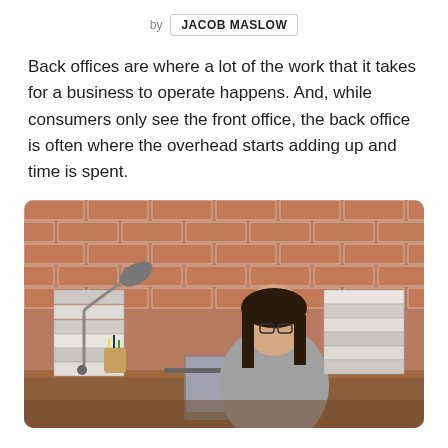by JACOB MASLOW
Back offices are where a lot of the work that it takes for a business to operate happens. And, while consumers only see the front office, the back office is often where the overhead starts adding up and time is spent.
[Figure (photo): Woman with glasses sitting at a desk surrounded by tall stacks of binders and folders, working on a laptop, with a brick wall background and a desk lamp on the left.]